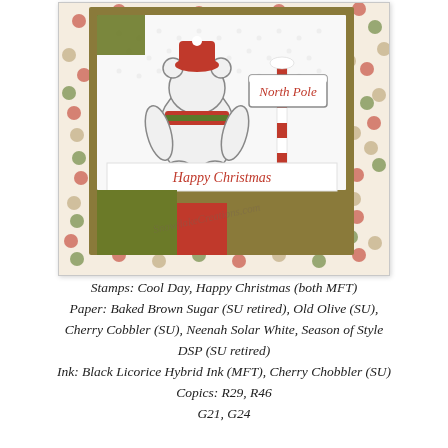[Figure (photo): A handmade Christmas card featuring a polar bear wearing a red hat and scarf, standing next to a North Pole sign on a polka-dot patterned background. The card reads 'Happy Christmas' on a banner. A watermark reads 'SnowflakeCreations.com'.]
Stamps: Cool Day, Happy Christmas (both MFT) Paper: Baked Brown Sugar (SU retired), Old Olive (SU), Cherry Cobbler (SU), Neenah Solar White, Season of Style DSP (SU retired) Ink: Black Licorice Hybrid Ink (MFT), Cherry Chobbler (SU) Copics: R29, R46 G21, G24